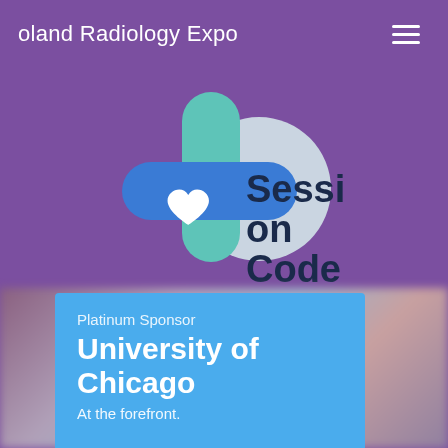oland Radiology Expo
[Figure (logo): SessionCode logo: a blue cross/plus shape with a white heart, overlapping a teal vertical pill and a light circle, with dark navy text reading 'Session on Code' to the right, on a purple background]
Platinum Sponsor
University of Chicago
At the forefront.